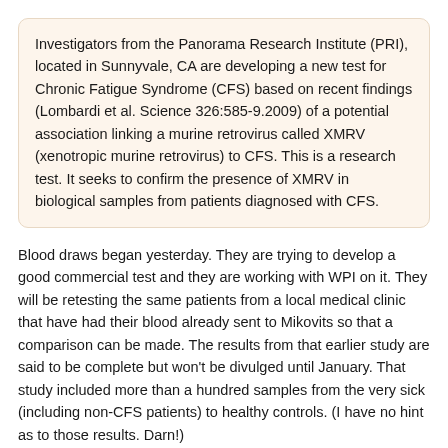Investigators from the Panorama Research Institute (PRI), located in Sunnyvale, CA are developing a new test for Chronic Fatigue Syndrome (CFS) based on recent findings (Lombardi et al. Science 326:585-9.2009) of a potential association linking a murine retrovirus called XMRV (xenotropic murine retrovirus) to CFS. This is a research test. It seeks to confirm the presence of XMRV in biological samples from patients diagnosed with CFS.
Blood draws began yesterday. They are trying to develop a good commercial test and they are working with WPI on it. They will be retesting the same patients from a local medical clinic that have had their blood already sent to Mikovits so that a comparison can be made. The results from that earlier study are said to be complete but won't be divulged until January. That study included more than a hundred samples from the very sick (including non-CFS patients) to healthy controls. (I have no hint as to those results. Darn!)
Dec 23, 2009